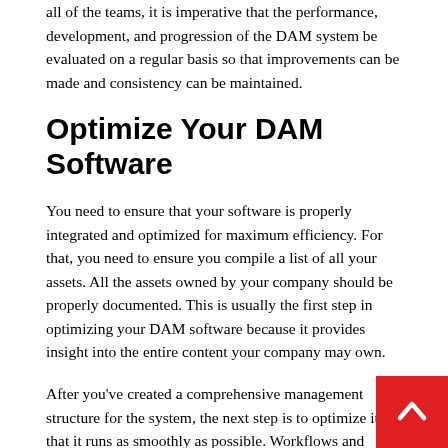all of the teams, it is imperative that the performance, development, and progression of the DAM system be evaluated on a regular basis so that improvements can be made and consistency can be maintained.
Optimize Your DAM Software
You need to ensure that your software is properly integrated and optimized for maximum efficiency. For that, you need to ensure you compile a list of all your assets. All the assets owned by your company should be properly documented. This is usually the first step in optimizing your DAM software because it provides insight into the entire content your company may own.
After you've created a comprehensive management structure for the system, the next step is to optimize it so that it runs as smoothly as possible. Workflows and business processes must be planned ahead of time in order to determine how the system can benefit the company. The optimization of your